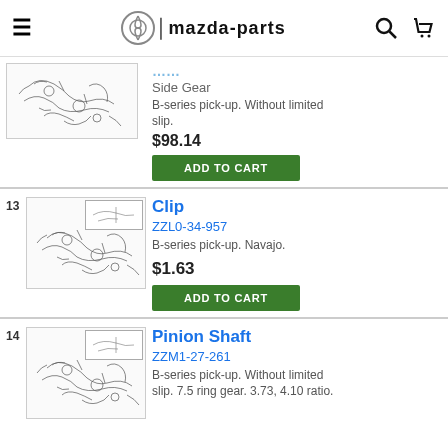mazda-parts
[Figure (illustration): Mazda parts diagram schematic - differential/gear assembly line drawing]
Side Gear
B-series pick-up. Without limited slip.
$98.14
ADD TO CART
Clip
ZZL0-34-957
[Figure (illustration): Mazda parts diagram schematic - differential/gear assembly line drawing, item 13 highlighted]
B-series pick-up. Navajo.
$1.63
ADD TO CART
Pinion Shaft
ZZM1-27-261
[Figure (illustration): Mazda parts diagram schematic - differential/gear assembly line drawing, item 14 highlighted]
B-series pick-up. Without limited slip. 7.5 ring gear. 3.73, 4.10 ratio.